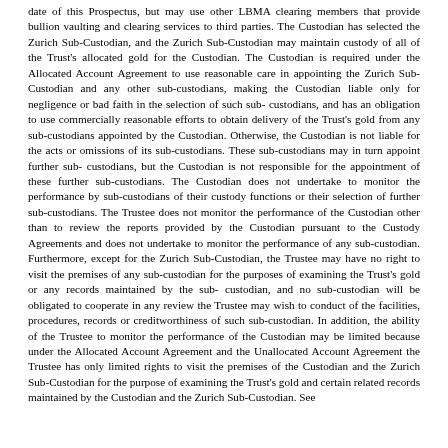date of this Prospectus, but may use other LBMA clearing members that provide bullion vaulting and clearing services to third parties. The Custodian has selected the Zurich Sub-Custodian, and the Zurich Sub-Custodian may maintain custody of all of the Trust's allocated gold for the Custodian. The Custodian is required under the Allocated Account Agreement to use reasonable care in appointing the Zurich Sub-Custodian and any other sub-custodians, making the Custodian liable only for negligence or bad faith in the selection of such sub-custodians, and has an obligation to use commercially reasonable efforts to obtain delivery of the Trust's gold from any sub-custodians appointed by the Custodian. Otherwise, the Custodian is not liable for the acts or omissions of its sub-custodians. These sub-custodians may in turn appoint further sub-custodians, but the Custodian is not responsible for the appointment of these further sub-custodians. The Custodian does not undertake to monitor the performance by sub-custodians of their custody functions or their selection of further sub-custodians. The Trustee does not monitor the performance of the Custodian other than to review the reports provided by the Custodian pursuant to the Custody Agreements and does not undertake to monitor the performance of any sub-custodian. Furthermore, except for the Zurich Sub-Custodian, the Trustee may have no right to visit the premises of any sub-custodian for the purposes of examining the Trust's gold or any records maintained by the sub-custodian, and no sub-custodian will be obligated to cooperate in any review the Trustee may wish to conduct of the facilities, procedures, records or creditworthiness of such sub-custodian. In addition, the ability of the Trustee to monitor the performance of the Custodian may be limited because under the Allocated Account Agreement and the Unallocated Account Agreement the Trustee has only limited rights to visit the premises of the Custodian and the Zurich Sub-Custodian for the purpose of examining the Trust's gold and certain related records maintained by the Custodian and the Zurich Sub-Custodian. See